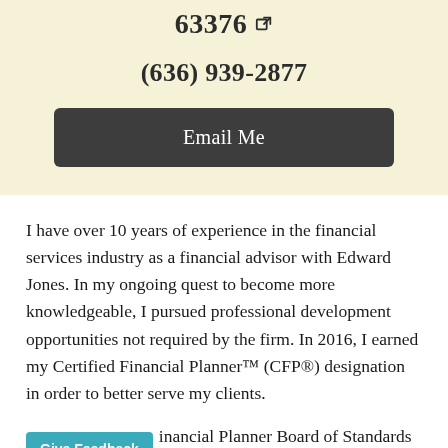63376
(636) 939-2877
Email Me
I have over 10 years of experience in the financial services industry as a financial advisor with Edward Jones. In my ongoing quest to become more knowledgeable, I pursued professional development opportunities not required by the firm. In 2016, I earned my Certified Financial Planner™ (CFP®) designation in order to better serve my clients.
The Financial Planner Board of Standards Inc.